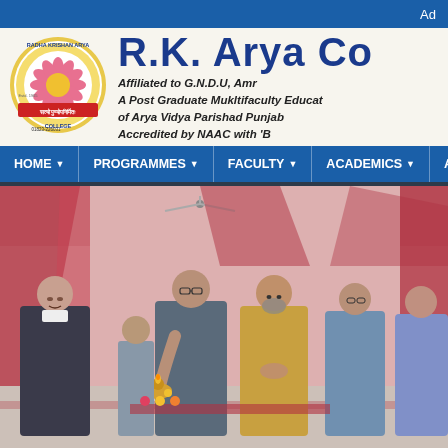Ad
[Figure (logo): Radha Krishan Arya College circular logo with lotus flower]
R.K. Arya College
Affiliated to G.N.D.U, Amritsar
A Post Graduate Mukltifaculty Educational Institution of Arya Vidya Parishad Punjab
Accredited by NAAC with 'B'
HOME | PROGRAMMES | FACULTY | ACADEMICS | ACHIEVEMENTS
[Figure (photo): Group of people at a college ceremony, one person lighting a ceremonial lamp (diya) on stage with pink draped backdrop]